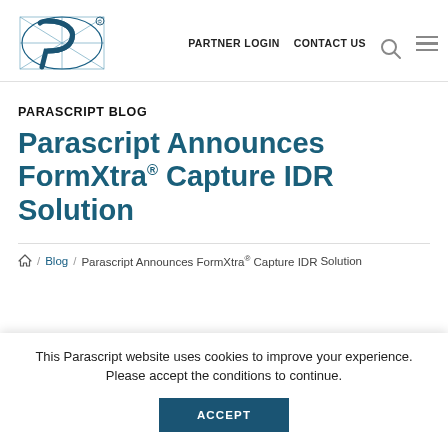PARTNER LOGIN   CONTACT US
[Figure (logo): Parascript logo — stylized letter P with grid lines in teal/blue]
PARASCRIPT BLOG
Parascript Announces FormXtra® Capture IDR Solution
⌂ / Blog / Parascript Announces FormXtra® Capture IDR Solution
This Parascript website uses cookies to improve your experience. Please accept the conditions to continue.